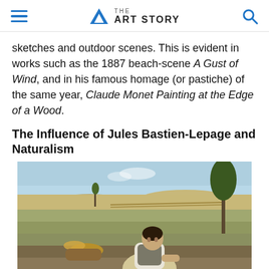THE ART STORY
sketches and outdoor scenes. This is evident in works such as the 1887 beach-scene A Gust of Wind, and in his famous homage (or pastiche) of the same year, Claude Monet Painting at the Edge of a Wood.
The Influence of Jules Bastien-Lepage and Naturalism
[Figure (photo): A naturalist painting showing two peasant figures resting in an open field landscape. A woman in a white blouse and grey vest sits upright in the foreground, while a man in a straw hat lies resting behind her. Trees and rolling countryside are visible in the background under a light blue sky.]